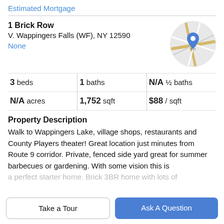Estimated Mortgage
1 Brick Row
V. Wappingers Falls (WF), NY 12590
None
[Figure (map): Circular map thumbnail showing a location pin marker on a street map]
|  |  |  |
| --- | --- | --- |
| 3 beds | 1 baths | N/A ½ baths |
| N/A acres | 1,752 sqft | $88 / sqft |
Property Description
Walk to Wappingers Lake, village shops, restaurants and County Players theater! Great location just minutes from Route 9 corridor. Private, fenced side yard great for summer barbecues or gardening. With some vision this is
a perfect starter home. Brick 3BR home with lots of
Take a Tour
Ask A Question